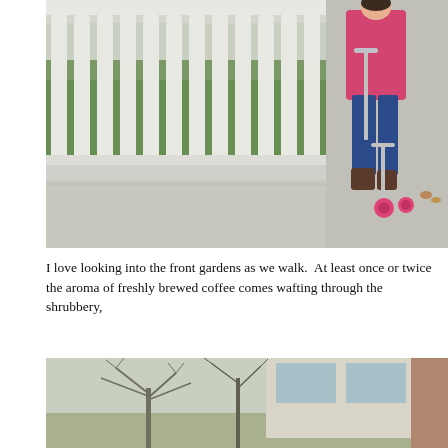[Figure (photo): A child in a pink jacket and blue jeans riding a pink scooter on a sidewalk next to a white picket fence with green shrubbery behind it.]
I love looking into the front gardens as we walk.  At least once or twice the aroma of freshly brewed coffee comes wafting through the shrubbery, making me want to head back home and make myself a cup.
[Figure (photo): A street-level view of bare winter trees in front of a light-colored building with large windows and a brick wall to the right.]